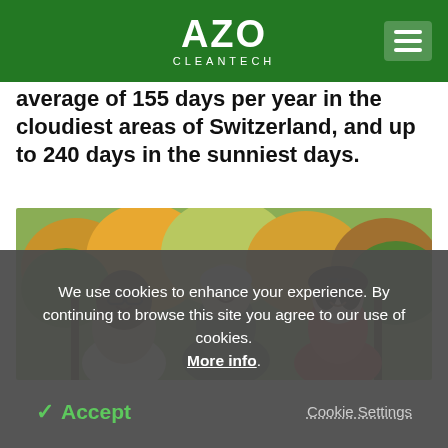AZO CLEANTECH
average of 155 days per year in the cloudiest areas of Switzerland, and up to 240 days in the sunniest days.
[Figure (photo): Three people smiling outdoors with autumn trees in background]
We use cookies to enhance your experience. By continuing to browse this site you agree to our use of cookies. More info.
✓ Accept   Cookie Settings